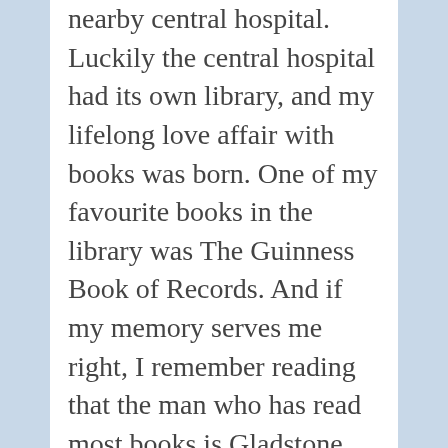nearby central hospital. Luckily the central hospital had its own library, and my lifelong love affair with books was born. One of my favourite books in the library was The Guinness Book of Records. And if my memory serves me right, I remember reading that the man who has read most books is Gladstone. 100,000 of them! People in the US do not want an intellectual as